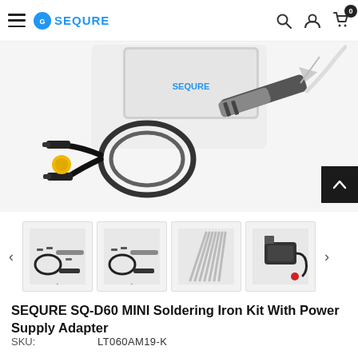SEQURE (logo) — navigation bar with hamburger menu, search, account, and cart (0)
[Figure (photo): Main product image showing SEQURE SQ-D60 mini soldering iron kit with cables including a yellow connector cap and a soldering iron pen with silver/black body, on white background]
[Figure (photo): Thumbnail 1: Full soldering iron kit set laid out showing cables and accessories]
[Figure (photo): Thumbnail 2: Full soldering iron kit set laid out showing cables and accessories (similar angle)]
[Figure (photo): Thumbnail 3: Multiple soldering iron tips fanned out]
[Figure (photo): Thumbnail 4: Power adapter and accessories]
SEQURE SQ-D60 MINI Soldering Iron Kit With Power Supply Adapter
SKU:    LT060AM19-K